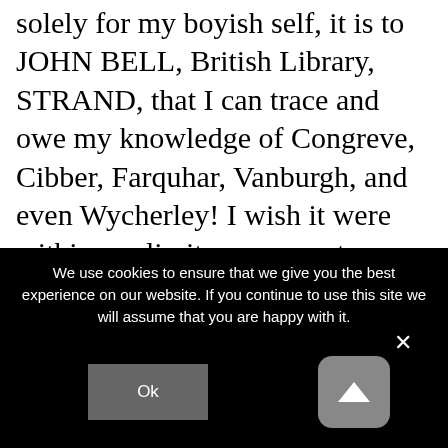solely for my boyish self, it is to JOHN BELL, British Library, STRAND, that I can trace and owe my knowledge of Congreve, Cibber, Farquhar, Vanburgh, and even Wycherley! I wish it were within my limits or power to go into more explicit details of what this New World, which was the Old World of the Eighteenth Century reborn for my especial delight, has ever since meant to me. Other and later, perhaps wiser and
We use cookies to ensure that we give you the best experience on our website. If you continue to use this site we will assume that you are happy with it.